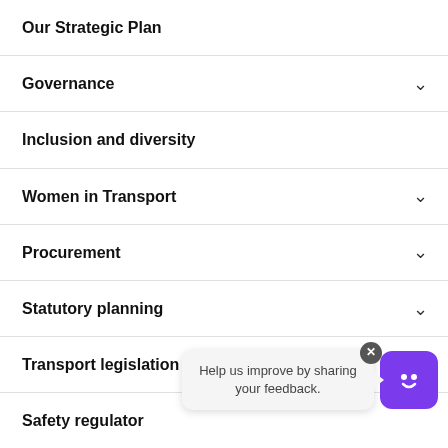Our Strategic Plan
Governance
Inclusion and diversity
Women in Transport
Procurement
Statutory planning
Transport legislation and regulation
Safety regulator
Chief Investigator, Transport Safety
[Figure (screenshot): Chat bot overlay with tooltip bubble saying 'Help us improve by sharing your feedback.' and a close (X) button, alongside a purple chat bot icon with a smiley face.]